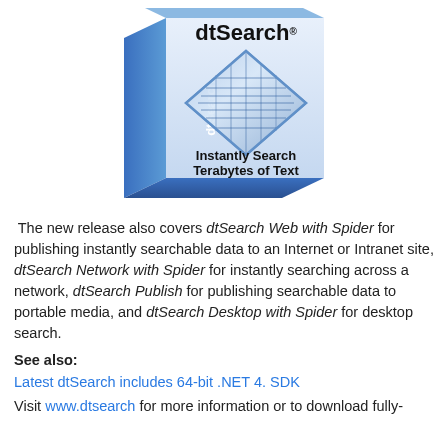[Figure (illustration): dtSearch software product box with blue gradient design, showing a 3D diamond/maze graphic and text 'Instantly Search Terabytes of Text' on the front, with 'dtSearch' on the spine.]
The new release also covers dtSearch Web with Spider for publishing instantly searchable data to an Internet or Intranet site, dtSearch Network with Spider for instantly searching across a network, dtSearch Publish for publishing searchable data to portable media, and dtSearch Desktop with Spider for desktop search.
See also:
Latest dtSearch includes 64-bit .NET 4. SDK
Visit www.dtsearch for more information or to download fully-